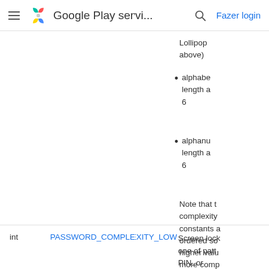Google Play servi...
Lollipop above)
alphabe length a 6
alphanu length a 6
Note that t complexity constants a ordered so higher valu more comp
| int | PASSWORD_COMPLEXITY_LOW | Screen lock one of patt PIN, or |
| --- | --- | --- |